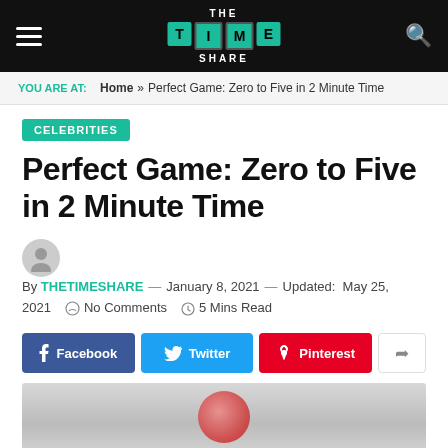THE TIME SHARE
YOU ARE AT: Home » Perfect Game: Zero to Five in 2 Minute Time
CELEBRITIES
Perfect Game: Zero to Five in 2 Minute Time
By THETIMESHARE — January 8, 2021 — Updated: May 25, 2021  No Comments  5 Mins Read
Facebook  Twitter  Pinterest